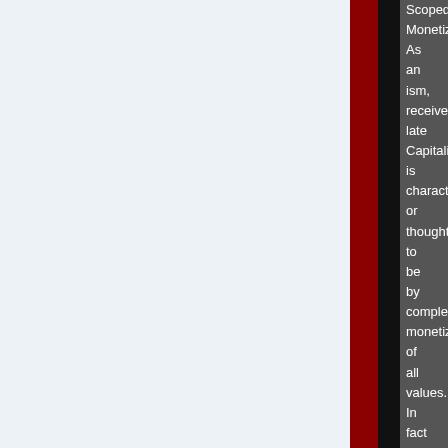Scoped Monetization. As an ism, received late Capitalism is characterized, or thought to be by complete monetization of all values. In fact this process